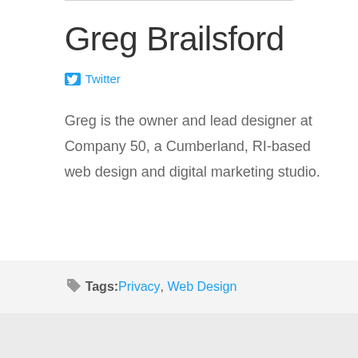Greg Brailsford
Twitter
Greg is the owner and lead designer at Company 50, a Cumberland, RI-based web design and digital marketing studio.
Tags: Privacy, Web Design